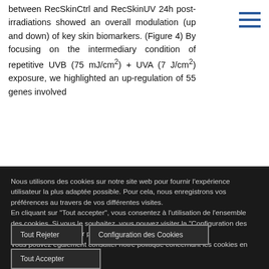between RecSkinCtrl and RecSkinUV 24h post-irradiations showed an overall modulation (up and down) of key skin biomarkers. (Figure 4) By focusing on the intermediary condition of repetitive UVB (75 mJ/cm²) + UVA (7 J/cm²) exposure, we highlighted an up-regulation of 55 genes involved
Nous utilisons des cookies sur notre site web pour fournir l'expérience utilisateur la plus adaptée possible. Pour cela, nous enregistrons vos préférences au travers de vos différentes visites.
En cliquant sur "Tout accepter", vous consentez à l'utilisation de l'ensemble des cookies. Si vous le souhaitez, vous pouvez visiter la "Configuration des Cookies" pour contrôler plus précisément votre consentement.
Vous pouvez également consulter notre politique concernant les cookies en cliquant ici.
Tout Rejeter
Configuration des Cookies
Tout Accepter